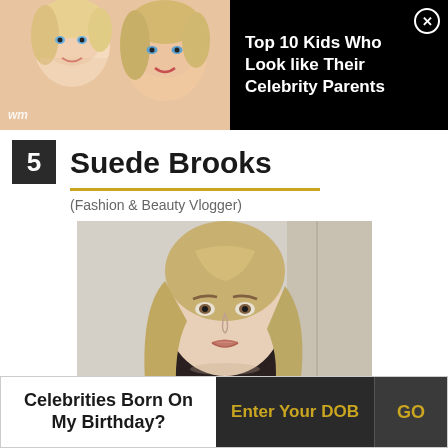[Figure (photo): Ad banner showing two blonde women side by side (mother and daughter look-alike), black background with text 'Top 10 Kids Who Look like Their Celebrity Parents' and close button]
Top 10 Kids Who Look like Their Celebrity Parents
5  Suede Brooks
(Fashion & Beauty Vlogger)
[Figure (photo): Portrait photo of a young blonde woman with long hair, light eyes, looking at camera against a light background]
Celebrities Born On My Birthday?  Enter Your DOB  GO